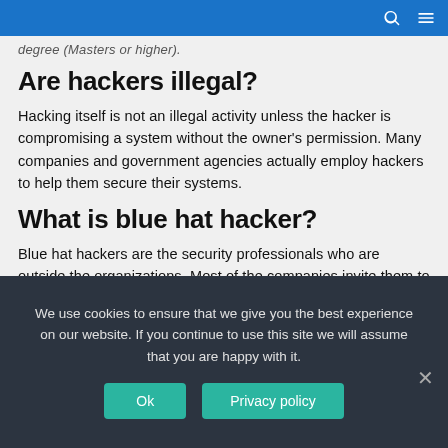degree (Masters or higher).
Are hackers illegal?
Hacking itself is not an illegal activity unless the hacker is compromising a system without the owner's permission. Many companies and government agencies actually employ hackers to help them secure their systems.
What is blue hat hacker?
Blue hat hackers are the security professionals who are outside the organizations. Most of the companies invite them to check the vulnerabilities in their softwares before the launching event. Blue hat hackers work are same like white hat hackers. Blue hat hackers also from company like Microsoft.
We use cookies to ensure that we give you the best experience on our website. If you continue to use this site we will assume that you are happy with it.